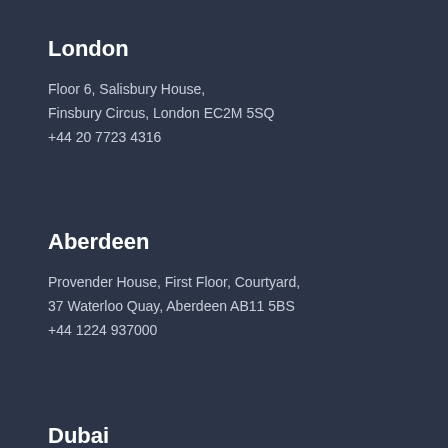London
Floor 6, Salisbury House,
Finsbury Circus, London EC2M 5SQ
+44 20 7723 4316
Aberdeen
Provender House, First Floor, Courtyard,
37 Waterloo Quay, Aberdeen AB11 5BS
+44 1224 937000
Dubai
Al Thuraya Tower 1, 21st Floor,
Dubai Media City, PO Box 502436
+971 4 375 1638